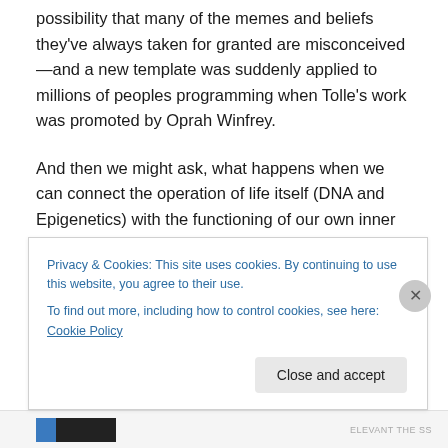possibility that many of the memes and beliefs they've always taken for granted are misconceived—and a new template was suddenly applied to millions of peoples programming when Tolle's work was promoted by Oprah Winfrey.
And then we might ask, what happens when we can connect the operation of life itself (DNA and Epigenetics) with the functioning of our own inner and outer worlds and belief systems?
Does the realization suddenly hit us that we are not
Privacy & Cookies: This site uses cookies. By continuing to use this website, you agree to their use.
To find out more, including how to control cookies, see here: Cookie Policy